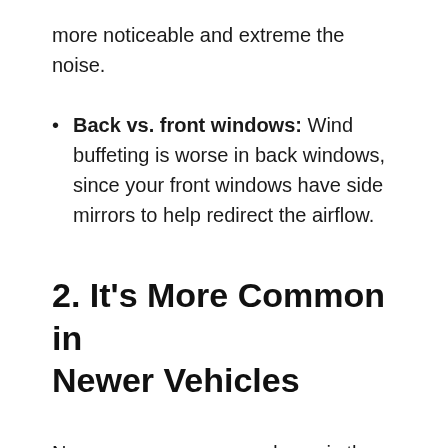more noticeable and extreme the noise.
Back vs. front windows: Wind buffeting is worse in back windows, since your front windows have side mirrors to help redirect the airflow.
2. It’s More Common in Newer Vehicles
New cars are more aerodynamic than their older cars. That means their shape and design help them move through the air more easily, reducing overall drag.
Unlike older vehicles, they’re also constructed to keep